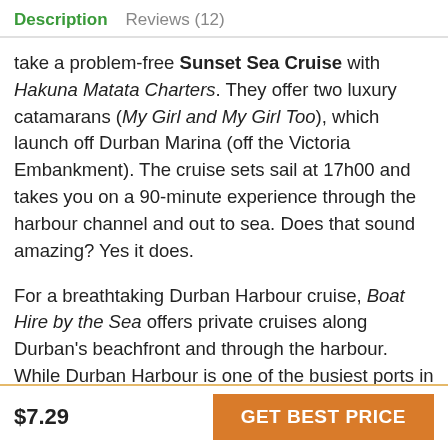Description   Reviews (12)
take a problem-free Sunset Sea Cruise with Hakuna Matata Charters. They offer two luxury catamarans (My Girl and My Girl Too), which launch off Durban Marina (off the Victoria Embankment). The cruise sets sail at 17h00 and takes you on a 90-minute experience through the harbour channel and out to sea. Does that sound amazing? Yes it does.
For a breathtaking Durban Harbour cruise, Boat Hire by the Sea offers private cruises along Durban's beachfront and through the harbour. While Durban Harbour is one of the busiest ports in
$7.29   GET BEST PRICE